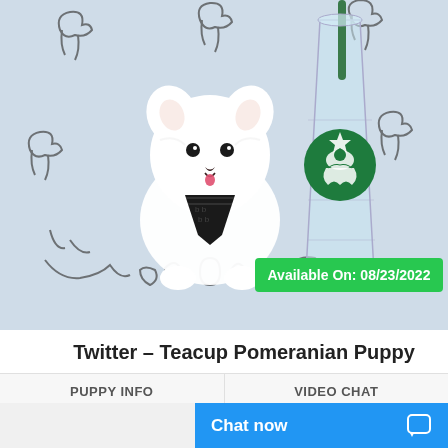[Figure (photo): A tiny white Teacup Pomeranian puppy wearing a black patterned bandana/tie, sitting next to a large Starbucks reusable clear plastic cup with a green straw and logo, on a white surface with cartoon dog doodle pattern. A green badge overlay reads 'Available On: 08/23/2022'.]
Twitter – Teacup Pomeranian Puppy
PUPPY INFO
VIDEO CHAT
Chat now